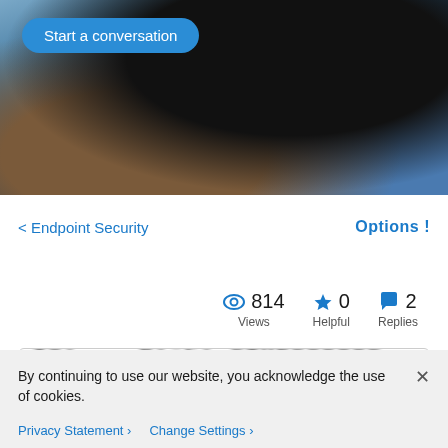[Figure (photo): Blurred hero image showing a dark background with blue and warm tones, likely a medical or tech setting]
Start a conversation
< Endpoint Security
Options !
814 Views
0 Helpful
2 Replies
By continuing to use our website, you acknowledge the use of cookies.
Privacy Statement >  Change Settings >